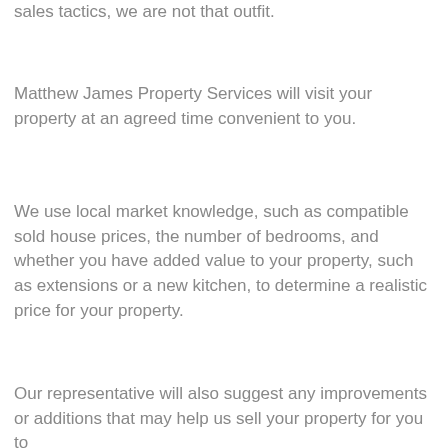sales tactics, we are not that outfit.
Matthew James Property Services will visit your property at an agreed time convenient to you.
We use local market knowledge, such as compatible sold house prices, the number of bedrooms, and whether you have added value to your property, such as extensions or a new kitchen, to determine a realistic price for your property.
Our representative will also suggest any improvements or additions that may help us sell your property for you to